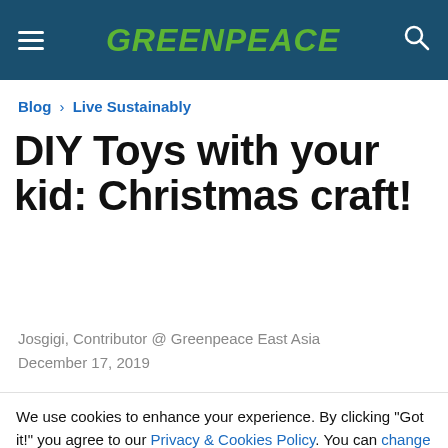GREENPEACE
Blog > Live Sustainably
DIY Toys with your kid: Christmas craft!
Josgigi, Contributor @ Greenpeace East Asia
December 17, 2019
We use cookies to enhance your experience. By clicking "Got it!" you agree to our Privacy & Cookies Policy. You can change your cookies settings anytime.
Settings
Accept all cookies